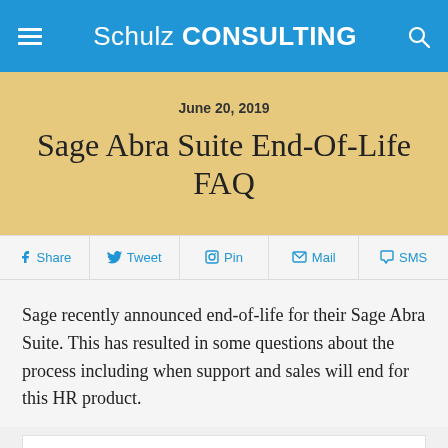Schulz CONSULTING
June 20, 2019
Sage Abra Suite End-Of-Life FAQ
Share  Tweet  Pin  Mail  SMS
Sage recently announced end-of-life for their Sage Abra Suite. This has resulted in some questions about the process including when support and sales will end for this HR product.